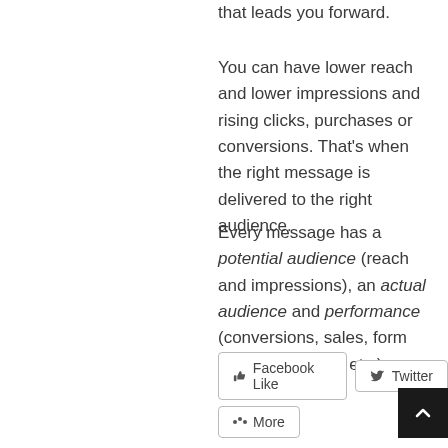that leads you forward.
You can have lower reach and lower impressions and rising clicks, purchases or conversions. That's when the right message is delivered to the right audience.
Every message has a potential audience (reach and impressions), an actual audience and performance (conversions, sales, form fills, video views, etc.).